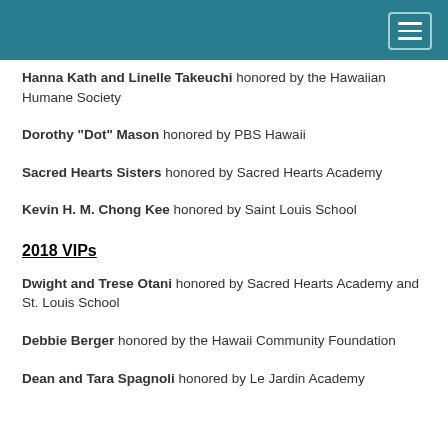Navigation menu header bar
Hanna Kath and Linelle Takeuchi honored by the Hawaiian Humane Society
Dorothy "Dot" Mason honored by PBS Hawaii
Sacred Hearts Sisters honored by Sacred Hearts Academy
Kevin H. M. Chong Kee honored by Saint Louis School
2018 VIPs
Dwight and Trese Otani honored by Sacred Hearts Academy and St. Louis School
Debbie Berger honored by the Hawaii Community Foundation
Dean and Tara Spagnoli honored by Le Jardin Academy